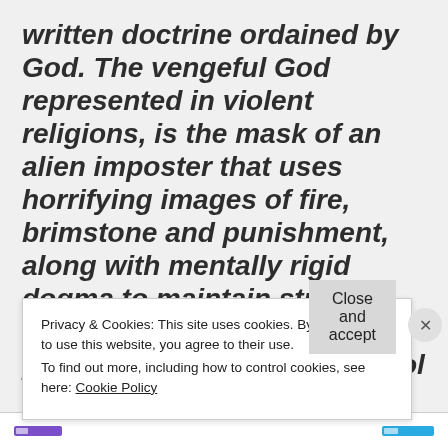written doctrine ordained by God. The vengeful God represented in violent religions, is the mask of an alien imposter that uses horrifying images of fire, brimstone and punishment, along with mentally rigid dogma to maintain strict control over the earth population. If religious control does not work, the
Privacy & Cookies: This site uses cookies. By continuing to use this website, you agree to their use.
To find out more, including how to control cookies, see here: Cookie Policy
Close and accept